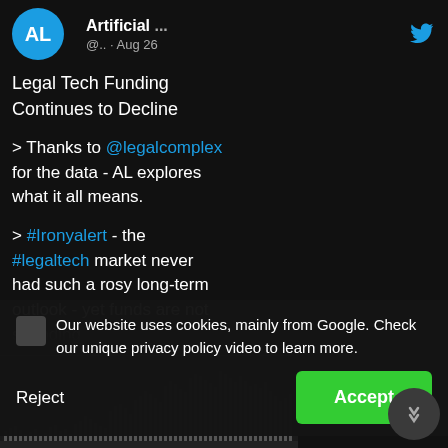[Figure (screenshot): Twitter/X profile avatar circle showing initials AL on blue background]
Artificial ... @.. · Aug 26
Legal Tech Funding Continues to Decline
> Thanks to @legalcomplex for the data - AL explores what it all means.
> #Ironyalert - the #legaltech market never had such a rosy long-term outlook - yet funds are not spending
Our website uses cookies, mainly from Google. Check our unique privacy policy video to learn more.
Reject
Accept
[Figure (bar-chart): Bar chart showing legal tech funding data over time, dark background with vertical bars in grey/dark tones]